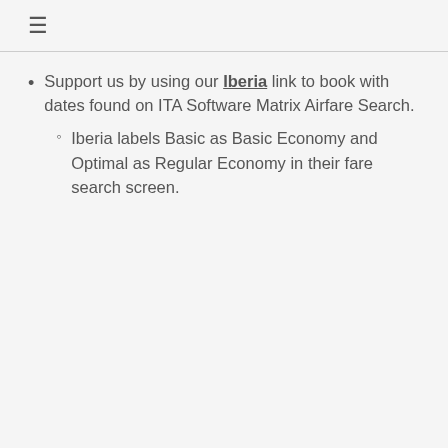≡
Support us by using our Iberia link to book with dates found on ITA Software Matrix Airfare Search.
Iberia labels Basic as Basic Economy and Optimal as Regular Economy in their fare search screen.